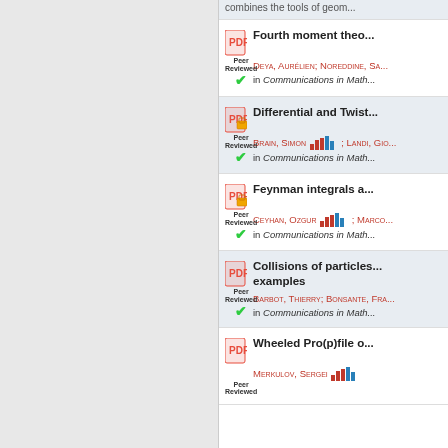combines the tools of geom...
Fourth moment theo...
Deya, Aurélien; Noreddine, Sa... in Communications in Math...
Differential and Twist...
Brain, Simon; Landi, Gio... in Communications in Math...
Feynman integrals a...
Ceyhan, Ozgur; Marco... in Communications in Math...
Collisions of particles... examples
Barbot, Thierry; Bonsante, Fra... in Communications in Math...
Wheeled Pro(p)file o...
Merkulov, Sergei...